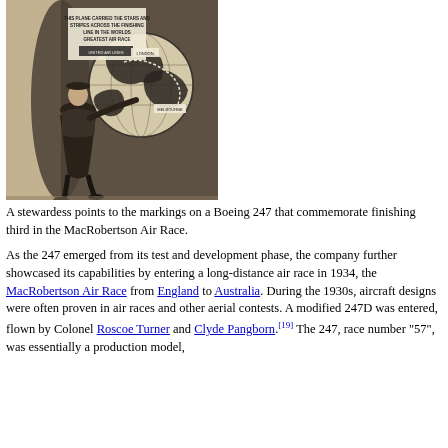[Figure (photo): A stewardess in 1930s attire stands next to the fuselage of a Boeing 247 aircraft, pointing to markings that include a globe showing a flight route, with text reading 'THIS PLANE CARRIED THE STARS AND STRIPES ACROSS THE FINISHING LINE IN THE WORLDS GREATEST AIR RACE' and 'UNITED AIR LINES'. Sepia-toned photograph.]
A stewardess points to the markings on a Boeing 247 that commemorate finishing third in the MacRobertson Air Race.
As the 247 emerged from its test and development phase, the company further showcased its capabilities by entering a long-distance air race in 1934, the MacRobertson Air Race from England to Australia. During the 1930s, aircraft designs were often proven in air races and other aerial contests. A modified 247D was entered, flown by Colonel Roscoe Turner and Clyde Pangborn.[19] The 247, race number "57", was essentially a production model,